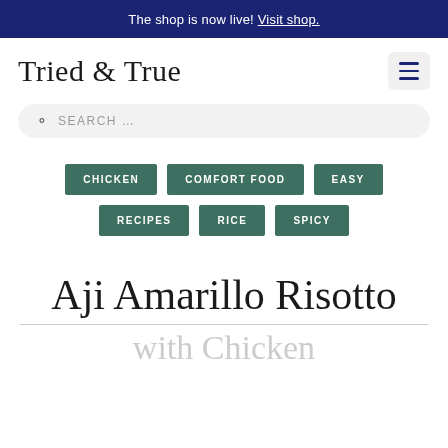The shop is now live! Visit shop.
Tried & True
SEARCH ...
CHICKEN
COMFORT FOOD
EASY
RECIPES
RICE
SPICY
Aji Amarillo Risotto
with Chicken